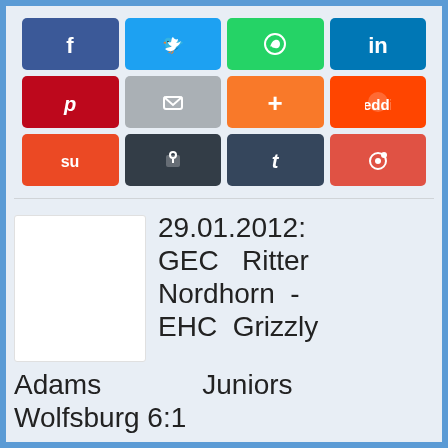[Figure (screenshot): Social media sharing buttons grid: Facebook, Twitter, WhatsApp, LinkedIn, Pinterest, Email, Add (+), Reddit, StumbleUpon, Lock, Tumblr, Weibo]
[Figure (photo): Blank white thumbnail image placeholder]
29.01.2012: GEC Ritter Nordhorn - EHC Grizzly Adams Juniors Wolfsburg 6:1
Regionalliga Nord